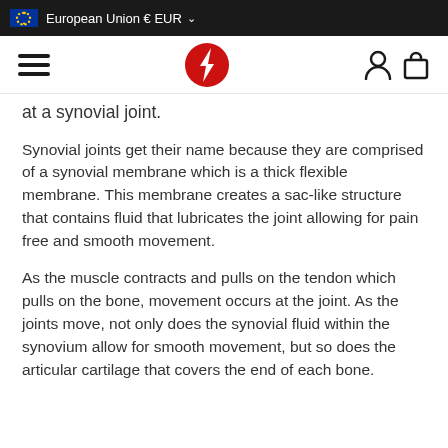European Union € EUR
at a synovial joint.
Synovial joints get their name because they are comprised of a synovial membrane which is a thick flexible membrane. This membrane creates a sac-like structure that contains fluid that lubricates the joint allowing for pain free and smooth movement.
As the muscle contracts and pulls on the tendon which pulls on the bone, movement occurs at the joint. As the joints move, not only does the synovial fluid within the synovium allow for smooth movement, but so does the articular cartilage that covers the end of each bone.